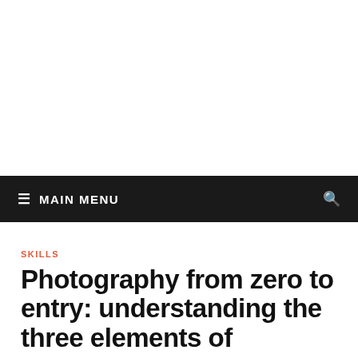≡ MAIN MENU
SKILLS
Photography from zero to entry: understanding the three elements of exposure
January 28, 2021 · by Yalong · Leave a Comment